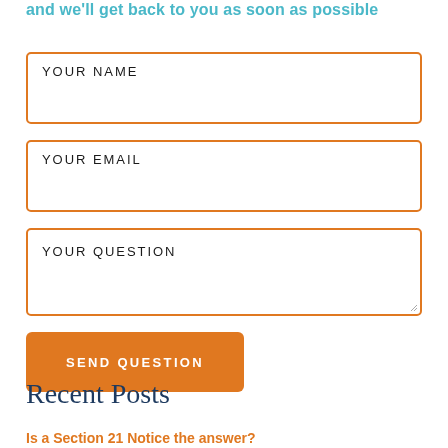and we'll get back to you as soon as possible
YOUR NAME
YOUR EMAIL
YOUR QUESTION
SEND QUESTION
Recent Posts
Is a Section 21 Notice the answer?